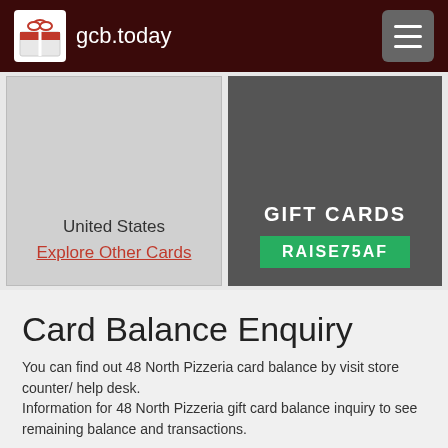gcb.today
United States
Explore Other Cards
[Figure (illustration): Gift cards promotional banner with promo code RAISE75AF on green background]
Card Balance Enquiry
You can find out 48 North Pizzeria card balance by visit store counter/ help desk.
Information for 48 North Pizzeria gift card balance inquiry to see remaining balance and transactions.
| Check Receipt | Store Counter |
| --- | --- |
| Check shopping receipt for balance | Visit store counter or help desk for balance |